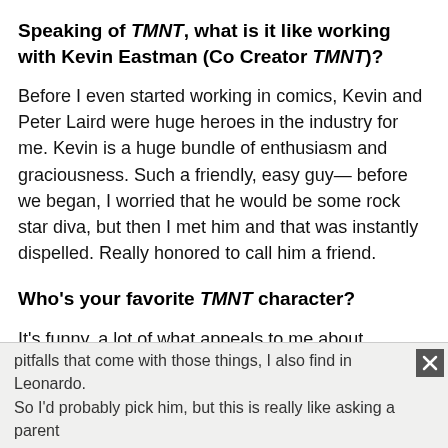Speaking of TMNT, what is it like working with Kevin Eastman (Co Creator TMNT)?
Before I even started working in comics, Kevin and Peter Laird were huge heroes in the industry for me. Kevin is a huge bundle of enthusiasm and graciousness. Such a friendly, easy guy— before we began, I worried that he would be some rock star diva, but then I met him and that was instantly dispelled. Really honored to call him a friend.
Who's your favorite TMNT character?
It's funny, a lot of what appeals to me about Applejack, a sense of trust, and leadership, and reliability, and all the pitfalls that come with those things, I also find in Leonardo. So I'd probably pick him, but this is really like asking a parent